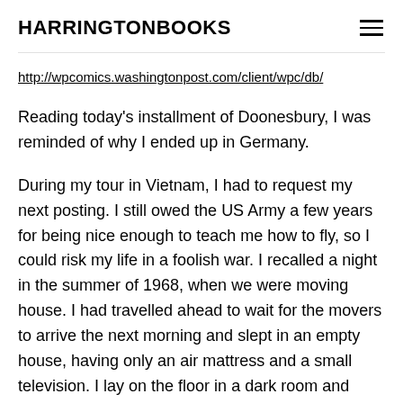HARRINGTONBOOKS
http://wpcomics.washingtonpost.com/client/wpc/db/
Reading today's installment of Doonesbury, I was reminded of why I ended up in Germany.
During my tour in Vietnam, I had to request my next posting. I still owed the US Army a few years for being nice enough to teach me how to fly, so I could risk my life in a foolish war. I recalled a night in the summer of 1968, when we were moving house. I had travelled ahead to wait for the movers to arrive the next morning and slept in an empty house, having only an air mattress and a small television. I lay on the floor in a dark room and watched news of the Democratic